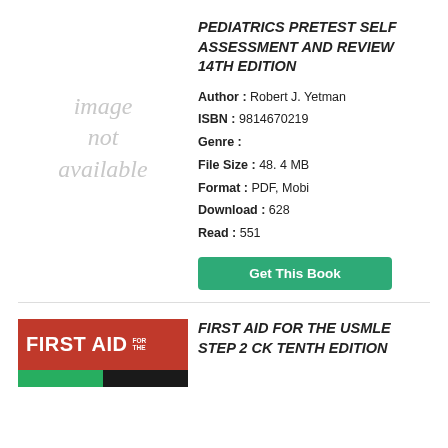[Figure (illustration): Image not available placeholder in light gray italic text]
PEDIATRICS PRETEST SELF ASSESSMENT AND REVIEW 14TH EDITION
Author : Robert J. Yetman
ISBN : 9814670219
Genre :
File Size : 48. 4 MB
Format : PDF, Mobi
Download : 628
Read : 551
[Figure (logo): First Aid for the USMLE logo with red, green, and black stripes]
FIRST AID FOR THE USMLE STEP 2 CK TENTH EDITION